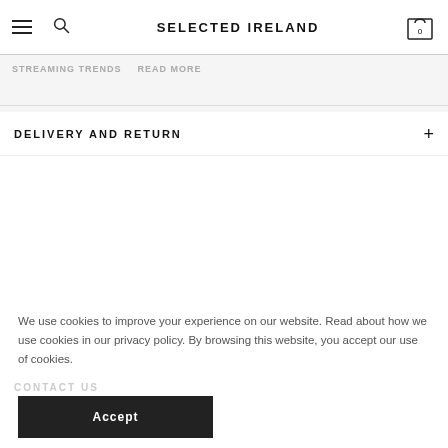SELECTED IRELAND
STREAMING TRENDS   READ MORE
DELIVERY AND RETURN
We use cookies to improve your experience on our website. Read about how we use cookies in our privacy policy. By browsing this website, you accept our use of cookies.
CONTACT US
Accept